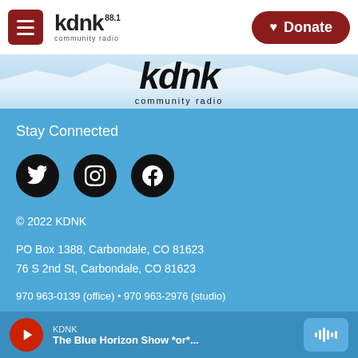kdnk 88.1 community radio — Donate
[Figure (logo): KDNK community radio large logo over mountain background]
Stay Connected
[Figure (infographic): Three social media icons: Twitter, Instagram, Facebook in black circles]
© 2022 KDNK
PO Box 1388, Carbondale, CO 81623
76 S 2nd St, Carbondale, CO 81623
970 963-0139 (office) • 970 963-2976 (studio)
About
People
KDNK — The Blue Horizon Show *or*...